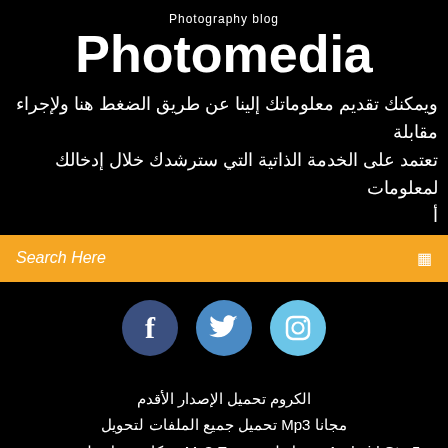Photography blog
Photomedia
ويمكنك تقديم معلوماتك إلينا عن طريق الضغط هنا ولإجراء مقابلة تعتمد على الخدمة الذاتية التي سترشدك خلال إدخالك لمعلومات أ...
Search Here
[Figure (illustration): Three social media icon circles: Facebook (dark blue), Twitter (medium blue), Instagram (light blue)]
الكروم تحميل الإصدار الأقدم
مجانا Mp3 تحميل جميع الملفات لتحويل
Android Gta 5 تحميل لعبة   Ms3 Ecu   مكان تنزيل ملف تعريف